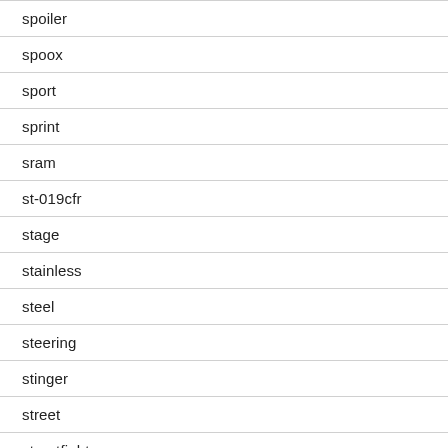spoiler
spoox
sport
sprint
sram
st-019cfr
stage
stainless
steel
steering
stinger
street
streetfighter